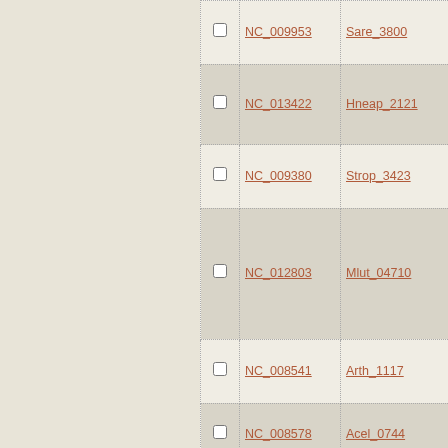|  | ID | Gene | Description |
| --- | --- | --- | --- |
| ☐ | NC_009953 | Sare_3800 | ABC transporter related |
| ☐ | NC_013422 | Hneap_2121 | ABC transporter related protein |
| ☐ | NC_009380 | Strop_3423 | ABC transporter related |
| ☐ | NC_012803 | Mlut_04710 | ATP-binding ABC transporter family nodulation protein |
| ☐ | NC_008541 | Arth_1117 | ABC transporter related |
| ☐ | NC_008578 | Acel_0744 | ABC transporter related |
| ☐ | NC_010508 | Bcenmc03_1573 | nodulation ABC transporter NodI |
| ☐ | NC_012003 | Amir_1173 | ABC transporter... |